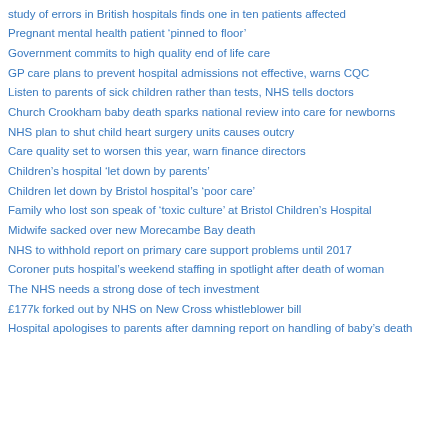study of errors in British hospitals finds one in ten patients affected
Pregnant mental health patient ‘pinned to floor’
Government commits to high quality end of life care
GP care plans to prevent hospital admissions not effective, warns CQC
Listen to parents of sick children rather than tests, NHS tells doctors
Church Crookham baby death sparks national review into care for newborns
NHS plan to shut child heart surgery units causes outcry
Care quality set to worsen this year, warn finance directors
Children’s hospital ‘let down by parents’
Children let down by Bristol hospital’s ‘poor care’
Family who lost son speak of ‘toxic culture’ at Bristol Children’s Hospital
Midwife sacked over new Morecambe Bay death
NHS to withhold report on primary care support problems until 2017
Coroner puts hospital’s weekend staffing in spotlight after death of woman
The NHS needs a strong dose of tech investment
£177k forked out by NHS on New Cross whistleblower bill
Hospital apologises to parents after damning report on handling of baby’s death